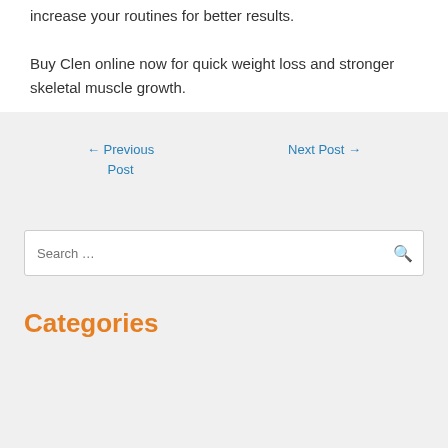increase your routines for better results. Buy Clen online now for quick weight loss and stronger skeletal muscle growth.
← Previous Post
Next Post →
Categories
Blog